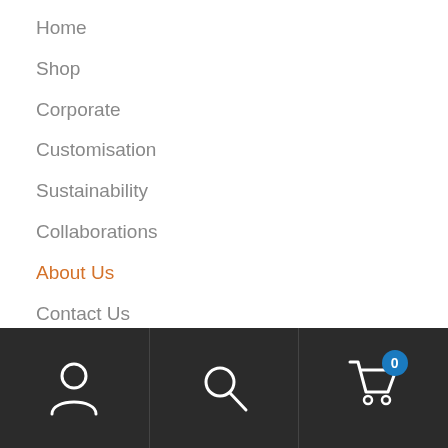Home
Shop
Corporate
Customisation
Sustainability
Collaborations
About Us
Contact Us
Blog
Wholesale Registration
Corporate and Bespoke Orders
Request a Quote
[Figure (infographic): Bottom navigation bar with dark background containing three icons: a user/person icon on the left, a search/magnifying glass icon in the center, and a shopping cart icon with a blue badge showing '0' on the right.]